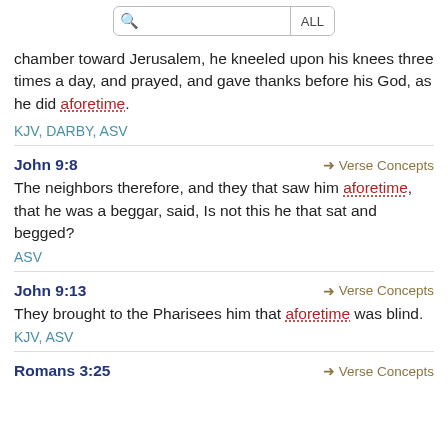[Figure (screenshot): Search bar with magnifying glass icon and ALL button]
chamber toward Jerusalem, he kneeled upon his knees three times a day, and prayed, and gave thanks before his God, as he did aforetime.
KJV, DARBY, ASV
John 9:8
→ Verse Concepts
The neighbors therefore, and they that saw him aforetime, that he was a beggar, said, Is not this he that sat and begged?
ASV
John 9:13
→ Verse Concepts
They brought to the Pharisees him that aforetime was blind.
KJV, ASV
Romans 3:25
→ Verse Concepts